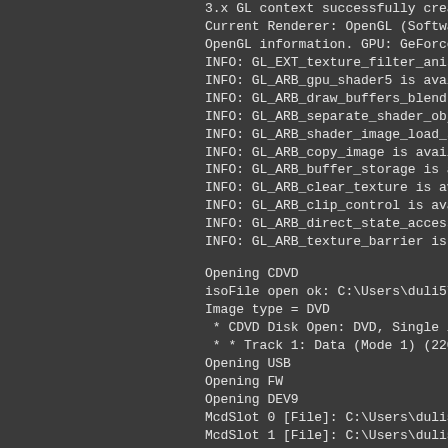3.x GL context successfully created
Current Renderer: OpenGL (Software mode
OpenGL information. GPU: GeForce GTX 1
INFO: GL_EXT_texture_filter_anisotropic is
INFO: GL_ARB_gpu_shader5 is available
INFO: GL_ARB_draw_buffers_blend is ava
INFO: GL_ARB_separate_shader_objects i
INFO: GL_ARB_shader_image_load_store
INFO: GL_ARB_copy_image is available
INFO: GL_ARB_buffer_storage is available
INFO: GL_ARB_clear_texture is available
INFO: GL_ARB_clip_control is available
INFO: GL_ARB_direct_state_access is ava
INFO: GL_ARB_texture_barrier is available

Opening CDVD
isoFile open ok: C:\Users\duli5\Downloads\
Image type  = DVD
 * CDVD Disk Open: DVD, Single layer or u
 * * Track 1: Data (Mode 1) (2205584 secto
Opening USB
Opening FW
Opening DEV9
McdSlot 0 [File]: C:\Users\duli5\OneDrive\D
McdSlot 1 [File]: C:\Users\duli5\OneDri